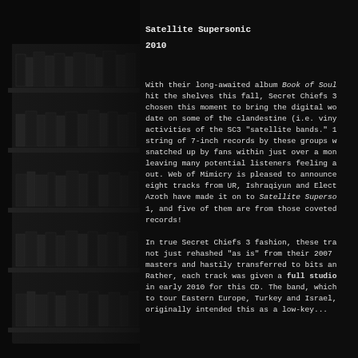Satellite Supersonic
2010
With their long-awaited album Book of Soul hit the shelves this fall, Secret Chiefs 3 chosen this moment to bring the digital wo date on some of the clandestine (i.e. viny activities of the SC3 "satellite bands." 1 string of 7-inch records by these groups w snatched up by fans within just over a mon leaving many potential listeners feeling a out. Web of Mimicry is pleased to announce eight tracks from UR, Ishraqiyun and Elect Azoth have made it on to Satellite Superso 1, and five of them are from those coveted records!
In true Secret Chiefs 3 fashion, these tra not just rehashed "as is" from their 2007 masters and hastily transferred to bits an Rather, each track was given a full studio in early 2010 for this CD. The band, which to tour Eastern Europe, Turkey and Israel, originally intended this as a low-key...